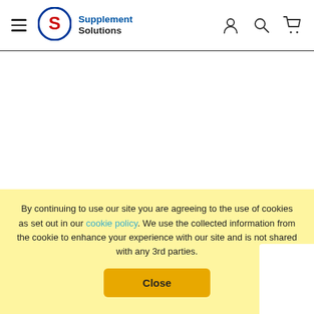Supplement Solutions
[Figure (logo): Supplement Solutions logo with circular S icon in blue and red, and brand name text]
[Figure (other): Loading spinner icon (partially visible) in the center of the white content area]
By continuing to use our site you are agreeing to the use of cookies as set out in our cookie policy. We use the collected information from the cookie to enhance your experience with our site and is not shared with any 3rd parties.
Close